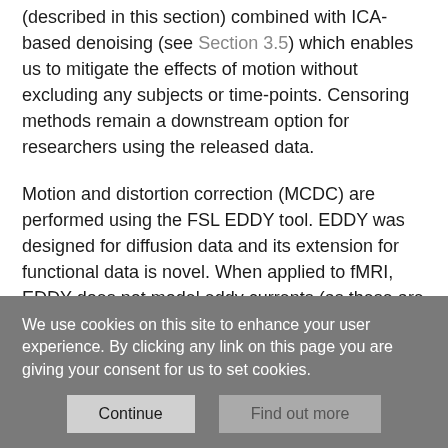(described in this section) combined with ICA-based denoising (see Section 3.5) which enables us to mitigate the effects of motion without excluding any subjects or time-points. Censoring methods remain a downstream option for researchers using the released data.
Motion and distortion correction (MCDC) are performed using the FSL EDDY tool. EDDY was designed for diffusion data and its extension for functional data is novel. When applied to fMRI, EDDY does not model eddy currents (as these are extremely low in fMRI), it instead treats each fMRI volume as a diffusion B0, using the temporal mean as a predictive model. The motivation for using EDDY on fMRI data is that it is capable of correcting for
We use cookies on this site to enhance your user experience. By clicking any link on this page you are giving your consent for us to set cookies.